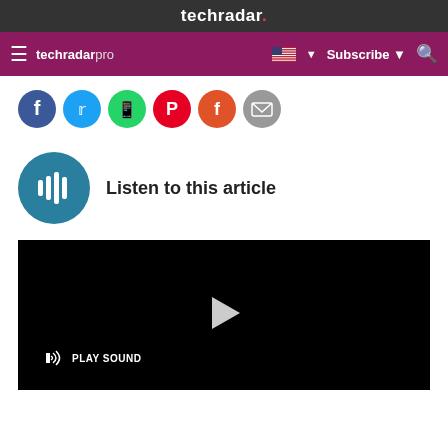techradar.
techradar pro — Subscribe
[Figure (screenshot): Social share icons: Facebook, Twitter, WhatsApp, Pinterest, Flipboard, Email]
Listen to this article
[Figure (screenshot): Black video player with PLAY SOUND button and center play arrow]